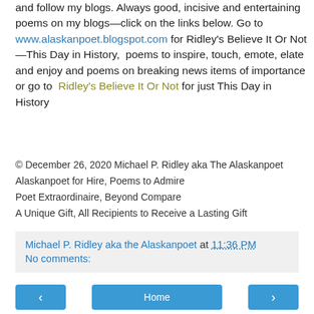and follow my blogs. Always good, incisive and entertaining poems on my blogs—click on the links below. Go to www.alaskanpoet.blogspot.com for Ridley's Believe It Or Not—This Day in History,  poems to inspire, touch, emote, elate and enjoy and poems on breaking news items of importance or go to  Ridley's Believe It Or Not for just This Day in History
© December 26, 2020 Michael P. Ridley aka The Alaskanpoet
Alaskanpoet for Hire, Poems to Admire
Poet Extraordinaire, Beyond Compare
A Unique Gift, All Recipients to Receive a Lasting Gift
Michael P. Ridley aka the Alaskanpoet at 11:36 PM
No comments: